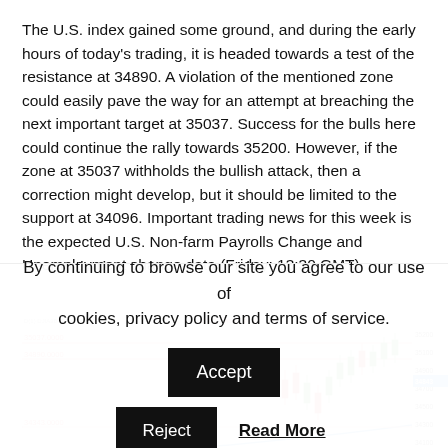The U.S. index gained some ground, and during the early hours of today's trading, it is headed towards a test of the resistance at 34890. A violation of the mentioned zone could easily pave the way for an attempt at breaching the next important target at 35037. Success for the bulls here could continue the rally towards 35200. However, if the zone at 35037 withholds the bullish attack, then a correction might develop, but it should be limited to the support at 34096. Important trading news for this week is the expected U.S. Non-farm Payrolls Change and Unemployment change data (Friday; 13:30 GMT).
[Figure (continuous-plot): A financial candlestick/line chart showing U.S. index price levels with horizontal resistance and support lines labeled at levels including 35037, 34890, 34343, 34096, and others. Chart shows price action with candlesticks in the right portion and colored horizontal lines across the chart.]
By continuing to browse our site you agree to our use of cookies, privacy policy and terms of service.